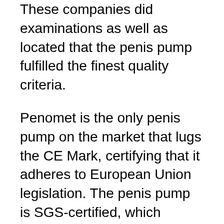These companies did examinations as well as located that the penis pump fulfilled the finest quality criteria.
Penomet is the only penis pump on the market that lugs the CE Mark, certifying that it adheres to European Union legislation. The penis pump is SGS-certified, which implies it is cost-free of toxins and doesn't consist of any kind of outlawed or limited chemicals.
WHAT MAKES PENOMET SO DIFFERENT? The Penomet pump is much better than all other choices in terms of performance and also results, along with safety and security.
Allow's have a look at how it compares versus the other most popular penis